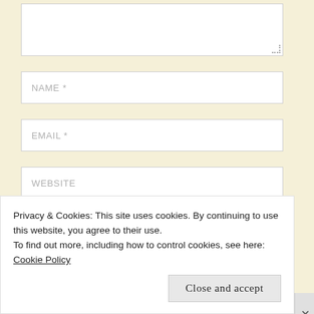[Figure (screenshot): Partial textarea input field at top of page (comment form stub)]
NAME *
EMAIL *
WEBSITE
POST COMMENT
Notify me of new comments via email.
Privacy & Cookies: This site uses cookies. By continuing to use this website, you agree to their use.
To find out more, including how to control cookies, see here: Cookie Policy
Close and accept